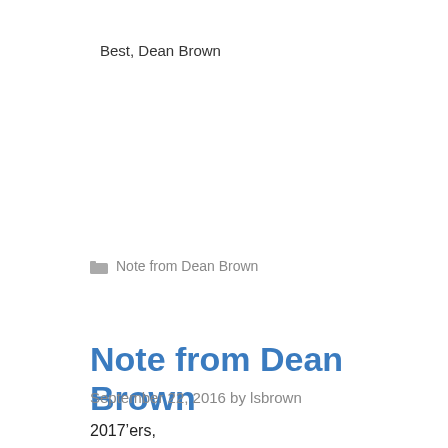Best, Dean Brown
Note from Dean Brown
Note from Dean Brown
September 22, 2016 by lsbrown
2017'ers,
I hope you are getting into your classes and the rhythm of the semester—and are enjoying being a